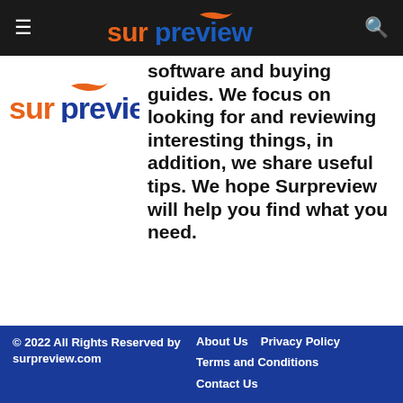surpreview (header navigation bar with logo, menu icon, and search icon)
[Figure (logo): Surpreview logo with orange arrow and two-tone text (orange 'sur', blue 'preview') on white background, displayed in the left column]
software and buying guides. We focus on looking for and reviewing interesting things, in addition, we share useful tips. We hope Surpreview will help you find what you need.
© 2022 All Rights Reserved by surpreview.com | About Us | Privacy Policy | Terms and Conditions | Contact Us